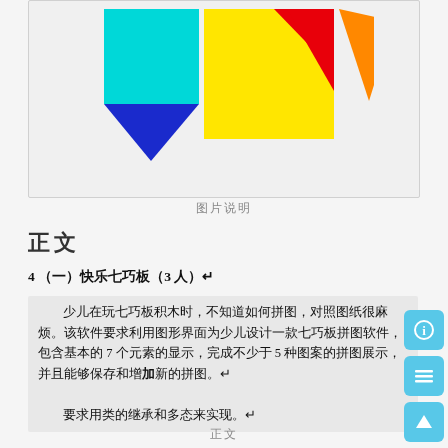[Figure (illustration): Tangram puzzle pieces arranged: cyan square, dark blue downward triangle, yellow large square with red triangle, orange triangle pieces on a light gray card background]
图片说明
正文
4 （一）快乐七巧板（3 人）↵
少儿在玩七巧板积木时，不知道如何拼图，对照图纸很麻烦。该软件要求利用图形界面为少儿设计一款七巧板拼图软件，包含基本的 7 个元素的显示，完成不少于 5 种图案的拼图展示，并且能够保存和增加新的拼图。↵
要求用类的继承和多态来实现。↵
正文